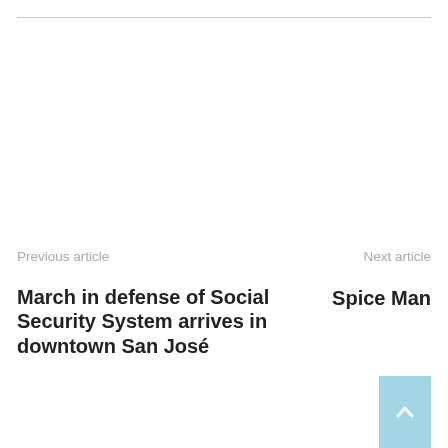Previous article
March in defense of Social Security System arrives in downtown San José
Next article
Spice Man